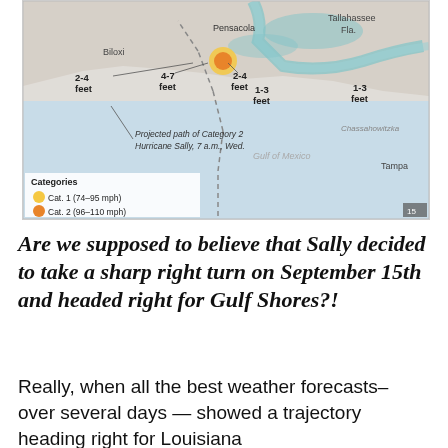[Figure (map): Map showing projected path of Category 2 Hurricane Sally, 7 a.m., Wed., along the Gulf Coast. Storm surge values shown: 2-4 feet near Biloxi, 4-7 feet near Pensacola (west), 2-4 feet near Pensacola (east), 1-3 feet further east, 1-3 feet near Florida coast. Cities labeled: Biloxi, Pensacola, Tallahassee, Fla., Chassahowitzka, Tampa, Gulf of Mexico. Legend shows Categories: Cat. 1 (74-95 mph) in yellow, Cat. 2 (96-110 mph) in orange.]
Are we supposed to believe that Sally decided to take a sharp right turn on September 15th and headed right for Gulf Shores?!
Really, when all the best weather forecasts– over several days — showed a trajectory heading right for Louisiana